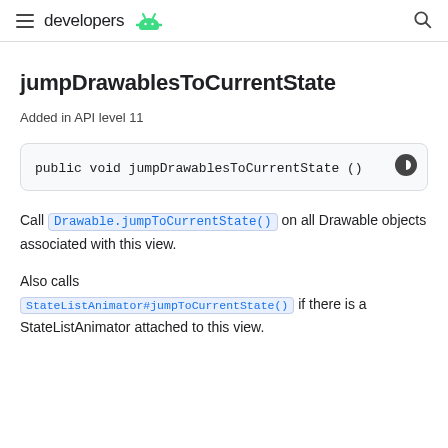developers
jumpDrawablesToCurrentState
Added in API level 11
public void jumpDrawablesToCurrentState ()
Call Drawable.jumpToCurrentState() on all Drawable objects associated with this view.
Also calls StateListAnimator#jumpToCurrentState() if there is a StateListAnimator attached to this view.